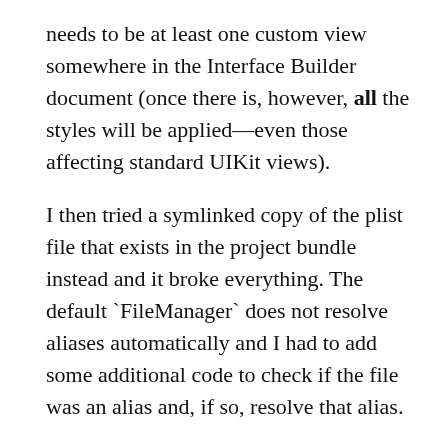needs to be at least one custom view somewhere in the Interface Builder document (once there is, however, all the styles will be applied—even those affecting standard UIKit views).
I then tried a symlinked copy of the plist file that exists in the project bundle instead and it broke everything. The default `FileManager` does not resolve aliases automatically and I had to add some additional code to check if the file was an alias and, if so, resolve that alias.
Here's the complete method in the appearance manager that searches for `IBAppearance.plist` (which itself is a symlink to `Appearance.plist` in the